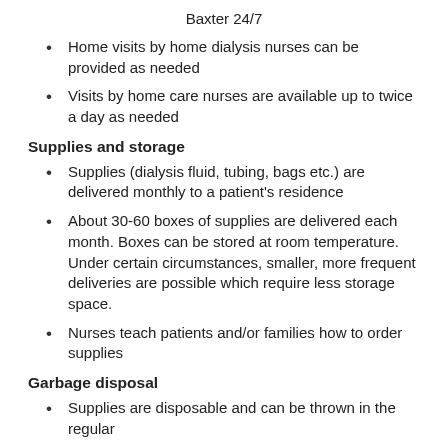Baxter 24/7
Home visits by home dialysis nurses can be provided as needed
Visits by home care nurses are available up to twice a day as needed
Supplies and storage
Supplies (dialysis fluid, tubing, bags etc.) are delivered monthly to a patient's residence
About 30-60 boxes of supplies are delivered each month. Boxes can be stored at room temperature. Under certain circumstances, smaller, more frequent deliveries are possible which require less storage space.
Nurses teach patients and/or families how to order supplies
Garbage disposal
Supplies are disposable and can be thrown in the regular